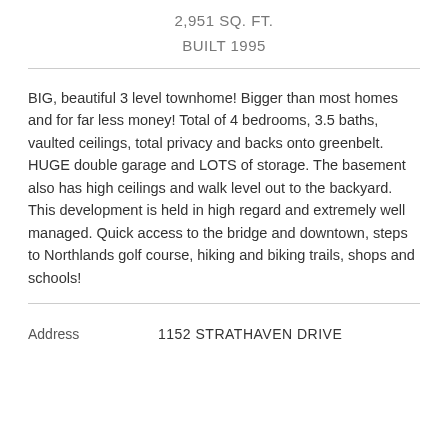2,951 SQ. FT.
BUILT 1995
BIG, beautiful 3 level townhome! Bigger than most homes and for far less money! Total of 4 bedrooms, 3.5 baths, vaulted ceilings, total privacy and backs onto greenbelt. HUGE double garage and LOTS of storage. The basement also has high ceilings and walk level out to the backyard. This development is held in high regard and extremely well managed. Quick access to the bridge and downtown, steps to Northlands golf course, hiking and biking trails, shops and schools!
| Address |  |
| --- | --- |
| Address | 1152 STRATHAVEN DRIVE |